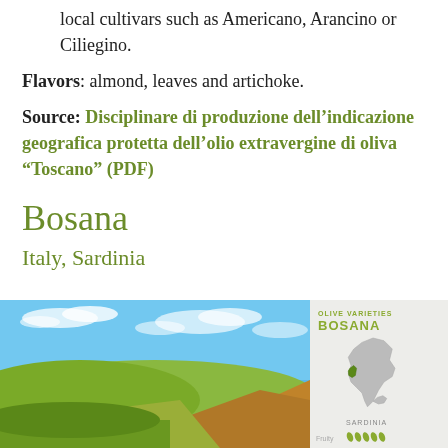local cultivars such as Americano, Arancino or Ciliegino.
Flavors: almond, leaves and artichoke.
Source: Disciplinare di produzione dell’indicazione geografica protetta dell’olio extravergine di oliva “Toscano” (PDF)
Bosana
Italy, Sardinia
[Figure (infographic): Left side: landscape photo of Sardinia with blue sky and rocky green hills. Right side: infographic showing Italy map with Sardinia highlighted, labeled OLIVE VARIETIES BOSANA, SARDINIA, with Fruity rating icons.]